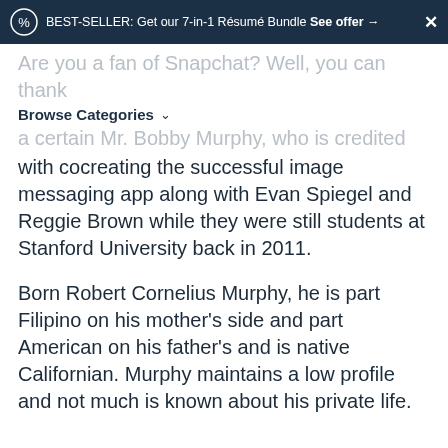BEST-SELLER: Get our 7-in-1 Résumé Bundle See offer → ×
Browse Categories ∨
Are you a fan of Snapchat? Well, you can thank a certain Mr. Bobby Murphy, who is credited with cocreating the successful image messaging app along with Evan Spiegel and Reggie Brown while they were still students at Stanford University back in 2011.
Born Robert Cornelius Murphy, he is part Filipino on his mother's side and part American on his father's and is native Californian. Murphy maintains a low profile and not much is known about his private life.